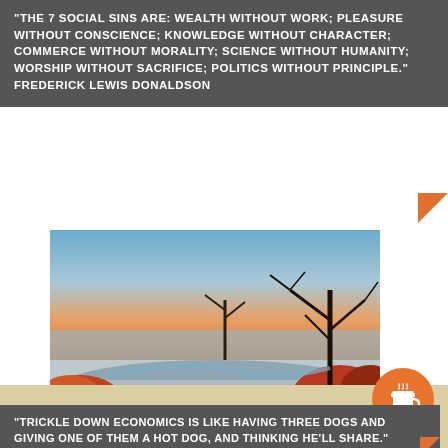"The 7 social sins are: wealth without work; pleasure without conscience; knowledge without character; commerce without morality; science without humanity; worship without sacrifice; politics without principle." Frederick Lewis Donaldson
[Figure (photo): Scenic overlook photo showing a river valley at sunset/dusk with autumn foliage and bare trees silhouetted in foreground, a Civil War cannon visible on the left side on rocky outcroppings, and a winding river below with hazy valley in background under an orange-tinted sky.]
"Trickle down economics is like having three dogs and giving one of them a hot dog, and thinking he'll share."